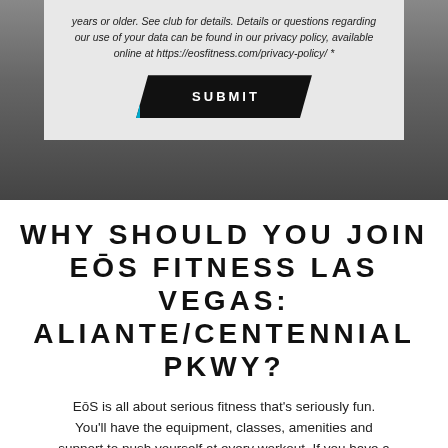years or older. See club for details. Details or questions regarding our use of your data can be found in our privacy policy, available online at https://eosfitness.com/privacy-policy/ *
SUBMIT
WHY SHOULD YOU JOIN EōS FITNESS LAS VEGAS: ALIANTE/CENTENNIAL PKWY?
EōS is all about serious fitness that's seriously fun. You'll have the equipment, classes, amenities and support to push yourself at every workout. If you have a